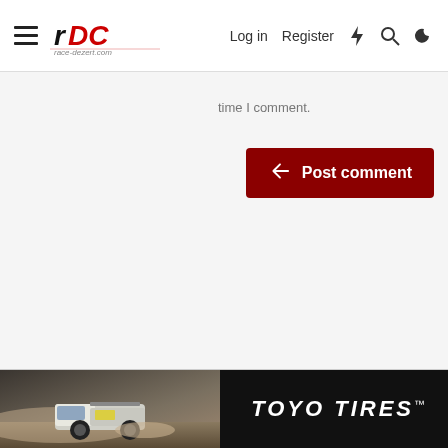race-dezert.com — Log in | Register
time I comment.
Post comment
[Figure (screenshot): Toyo Tires advertisement banner at the bottom showing a desert racing truck (Pro-4 style) on the left side and TOYO TIRES logo text on the right, black background.]